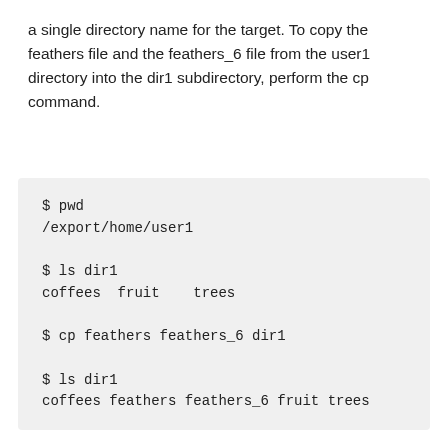a single directory name for the target. To copy the feathers file and the feathers_6 file from the user1 directory into the dir1 subdirectory, perform the cp command.
$ pwd
/export/home/user1

$ ls dir1
coffees  fruit    trees

$ cp feathers feathers_6 dir1

$ ls dir1
coffees feathers feathers_6 fruit trees